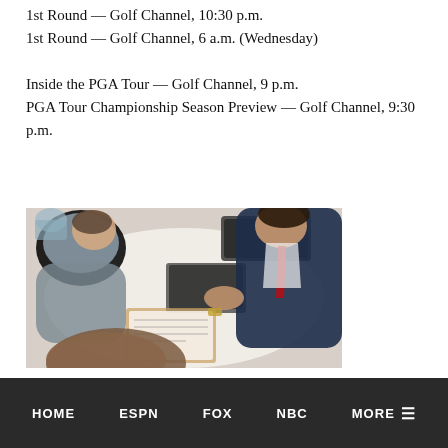1st Round — Golf Channel, 10:30 p.m.
1st Round — Golf Channel, 6 a.m. (Wednesday)
Inside the PGA Tour — Golf Channel, 9 p.m.
PGA Tour Championship Season Preview — Golf Channel, 9:30 p.m.
[Figure (photo): Overhead view of three people gathered around a white desk/table, with one person in a dark suit and red tie using a laptop/calculator, another person in gray leaning over, and a third person with long brown hair in the foreground. A clipboard with papers is visible on the table.]
HOME   ESPN   FOX   NBC   MORE ≡